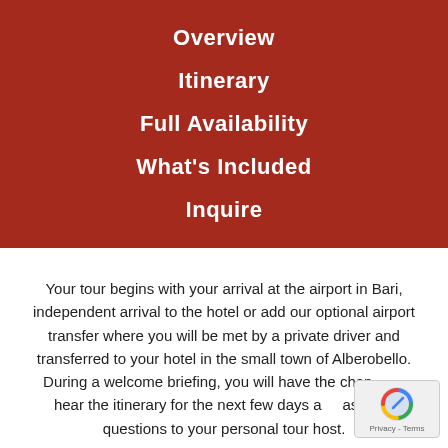Overview
Itinerary
Full Availability
What's Included
Inquire
Your tour begins with your arrival at the airport in Bari, independent arrival to the hotel or add our optional airport transfer where you will be met by a private driver and transferred to your hotel in the small town of Alberobello. During a welcome briefing, you will have the chance to hear the itinerary for the next few days and ask any questions to your personal tour host.